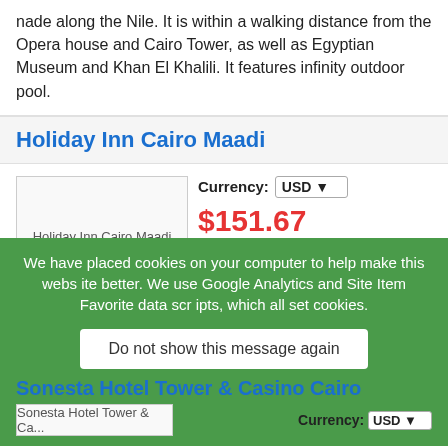nade along the Nile. It is within a walking distance from the Opera house and Cairo Tower, as well as Egyptian Museum and Khan El Khalili. It features infinity outdoor pool.
Holiday Inn Cairo Maadi
[Figure (photo): Holiday Inn Cairo Maadi hotel image placeholder]
Currency: USD
$151.67
Price:$151.67(USD)
Score: ♥5
Go to Booking.com
Overlooking the majestic Nile River and hosting panoramic views of the great Giza Pyramids, this luxury hotel provides superb business and leisure facilities.
We have placed cookies on your computer to help make this website better. We use Google Analytics and Site Item Favorite data scripts, which all set cookies.
Do not show this message again
Sonesta Hotel Tower & Casino Cairo
Currency: USD